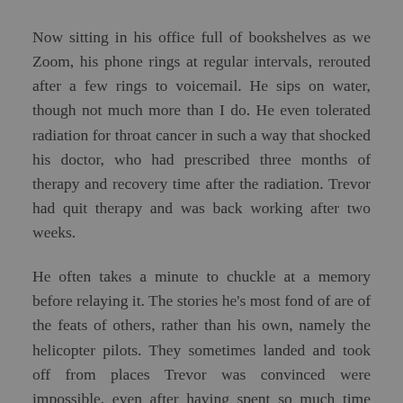Now sitting in his office full of bookshelves as we Zoom, his phone rings at regular intervals, rerouted after a few rings to voicemail. He sips on water, though not much more than I do. He even tolerated radiation for throat cancer in such a way that shocked his doctor, who had prescribed three months of therapy and recovery time after the radiation. Trevor had quit therapy and was back working after two weeks.
He often takes a minute to chuckle at a memory before relaying it. The stories he's most fond of are of the feats of others, rather than his own, namely the helicopter pilots. They sometimes landed and took off from places Trevor was convinced were impossible, even after having spent so much time landing and taking off as a passenger, regularly moving base camp and getting resupplied by helicopter every seven